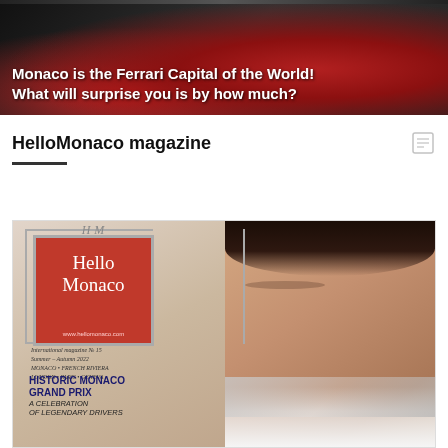[Figure (photo): Banner image of a red Ferrari sports car with dark background and white overlay text reading: 'Monaco is the Ferrari Capital of the World! What will surprise you is by how much?']
Monaco is the Ferrari Capital of the World! What will surprise you is by how much?
HelloMonaco magazine
[Figure (photo): HelloMonaco magazine cover showing a fashion model with jewelry and necklace, alongside the HelloMonaco red logo box. Text includes: International magazine № 15, Summer – Autumn 2022, Monaco • French Riviera, London • Paris • Geneva. Headline: HISTORIC MONACO GRAND PRIX A CELEBRATION OF LEGENDARY DRIVERS]